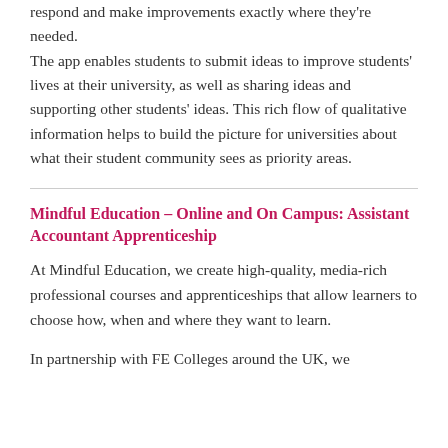respond and make improvements exactly where they're needed. The app enables students to submit ideas to improve students' lives at their university, as well as sharing ideas and supporting other students' ideas. This rich flow of qualitative information helps to build the picture for universities about what their student community sees as priority areas.
Mindful Education – Online and On Campus: Assistant Accountant Apprenticeship
At Mindful Education, we create high-quality, media-rich professional courses and apprenticeships that allow learners to choose how, when and where they want to learn.
In partnership with FE Colleges around the UK, we